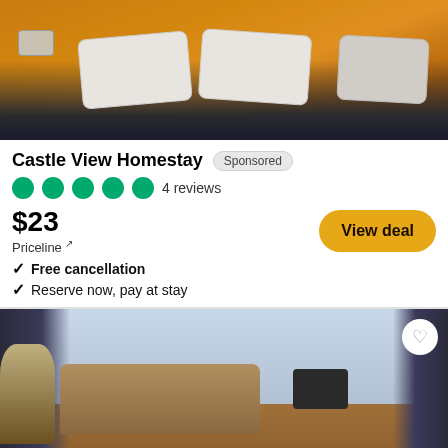[Figure (photo): Hotel room with orange/amber walls and white decorative pillows on a dark headboard bed]
Castle View Homestay
Sponsored
4 reviews
$23
Priceline ↗
View deal
Free cancellation
Reserve now, pay at stay
[Figure (photo): Hotel room interior with vintage furniture, sofa, lamp, curtains and windows showing daylight]
Booking.com ↗
$22
View deal